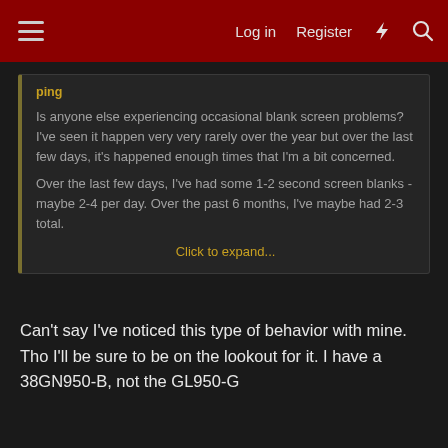Log in  Register
Is anyone else experiencing occasional blank screen problems? I've seen it happen very very rarely over the year but over the last few days, it's happened enough times that I'm a bit concerned.

Over the last few days, I've had some 1-2 second screen blanks - maybe 2-4 per day. Over the past 6 months, I've maybe had 2-3 total.

Click to expand...
Can't say I've noticed this type of behavior with mine. Tho I'll be sure to be on the lookout for it. I have a 38GN950-B, not the GL950-G
DoubleTap like this
Jan 18, 2021  #1,114
flint350